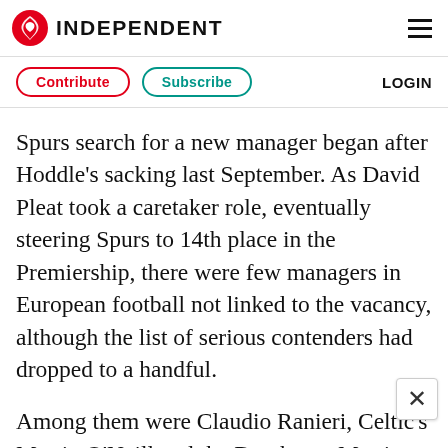INDEPENDENT
Contribute   Subscribe   LOGIN
Spurs search for a new manager began after Hoddle's sacking last September. As David Pleat took a caretaker role, eventually steering Spurs to 14th place in the Premiership, there were few managers in European football not linked to the vacancy, although the list of serious contenders had dropped to a handful.
Among them were Claudio Ranieri, Celtic's Martin O'Neill and the Dutchman Martin Jol, who had the backing of Tottenham's new